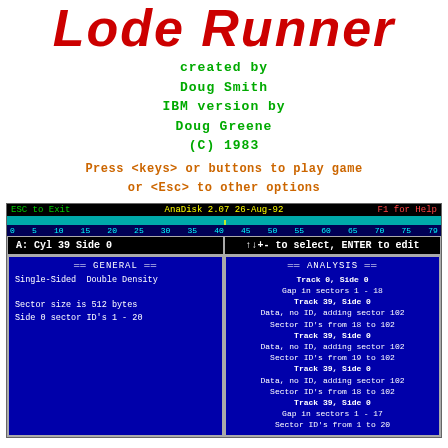Lode Runner
created by
Doug Smith
IBM version by
Doug Greene
(C) 1983
Press <keys> or buttons to play game
or <Esc> to other options
[Figure (screenshot): AnaDisk 2.07 26-Aug-92 disk analysis utility screen showing GENERAL panel with Single-Sided Double Density info and ANALYSIS panel with track/sector data for Track 0 Side 0, Track 39 Side 0 repeated entries]